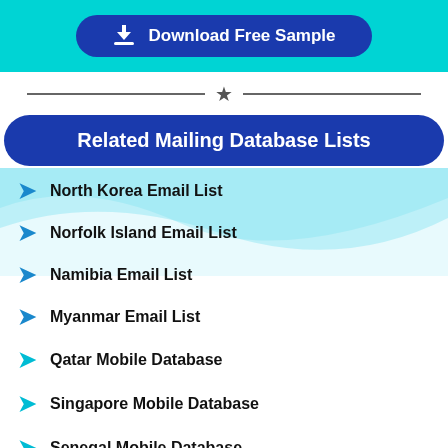[Figure (other): Download Free Sample button with teal background and dark blue rounded button with download icon]
[Figure (other): Decorative divider with star icon in center]
Related Mailing Database Lists
North Korea Email List
Norfolk Island Email List
Namibia Email List
Myanmar Email List
Qatar Mobile Database
Singapore Mobile Database
Senegal Mobile Database
Saudi-Arabia Mobile Database